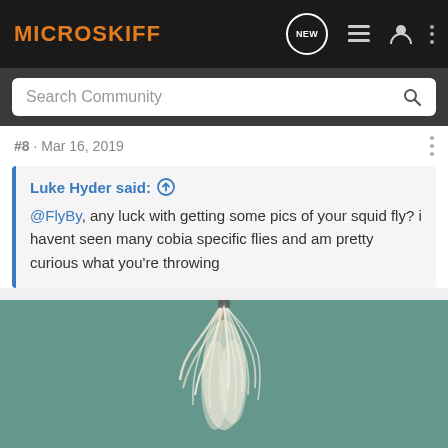MICROSKIFF
Search Community
#8 · Mar 16, 2019
Luke Hyder said: ↑
@FlyBy, any luck with getting some pics of your squid fly? i havent seen many cobia specific flies and am pretty curious what you're throwing
[Figure (photo): Close-up photo of a fishing fly (squid fly) with white feathers/fur on a teal/green water background]